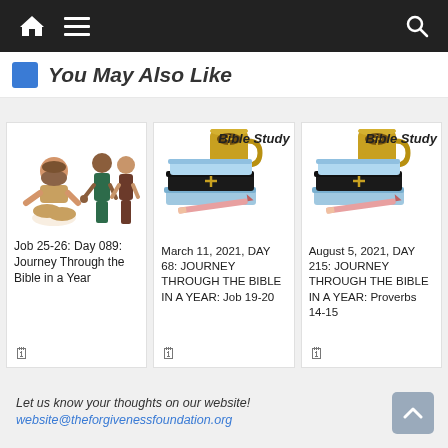Navigation bar with home, menu, and search icons
You May Also Like
[Figure (illustration): Card 1: Illustration of biblical figures (Job) - seated man and two standing figures. Title: Job 25-26: Day 089: Journey Through the Bible in a Year]
[Figure (illustration): Card 2: Bible Study illustration with books and coffee mug. Title: March 11, 2021, DAY 68: JOURNEY THROUGH THE BIBLE IN A YEAR: Job 19-20]
[Figure (illustration): Card 3: Bible Study illustration with books and coffee mug. Title: August 5, 2021, DAY 215: JOURNEY THROUGH THE BIBLE IN A YEAR: Proverbs 14-15]
Let us know your thoughts on our website!
website@theforgivenessfoundation.org